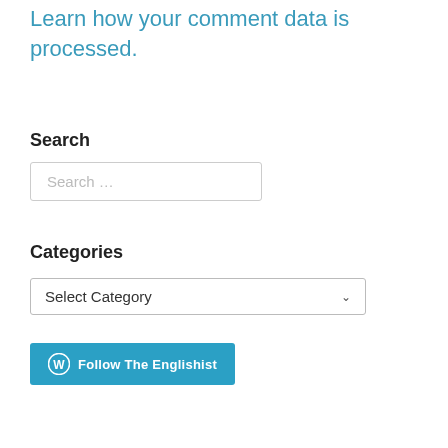Learn how your comment data is processed.
Search
[Figure (screenshot): Search input box with placeholder text 'Search ...']
Categories
[Figure (screenshot): Dropdown select box showing 'Select Category' with a chevron arrow]
[Figure (screenshot): Blue button with WordPress logo icon and text 'Follow The Englishist']